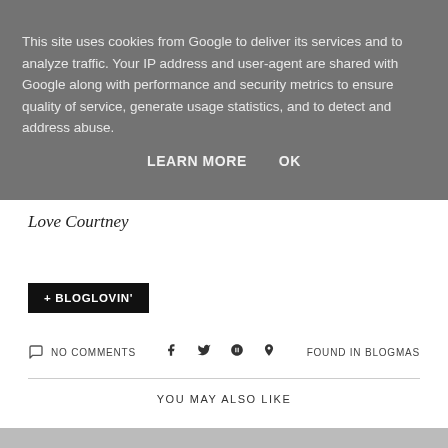This site uses cookies from Google to deliver its services and to analyze traffic. Your IP address and user-agent are shared with Google along with performance and security metrics to ensure quality of service, generate usage statistics, and to detect and address abuse.
LEARN MORE   OK
Love Courtney
+ BLOGLOVIN'
NO COMMENTS
FOUND IN BLOGMAS
YOU MAY ALSO LIKE